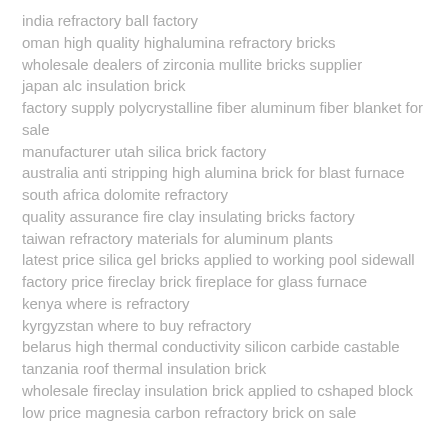india refractory ball factory
oman high quality highalumina refractory bricks
wholesale dealers of zirconia mullite bricks supplier
japan alc insulation brick
factory supply polycrystalline fiber aluminum fiber blanket for sale
manufacturer utah silica brick factory
australia anti stripping high alumina brick for blast furnace
south africa dolomite refractory
quality assurance fire clay insulating bricks factory
taiwan refractory materials for aluminum plants
latest price silica gel bricks applied to working pool sidewall
factory price fireclay brick fireplace for glass furnace
kenya where is refractory
kyrgyzstan where to buy refractory
belarus high thermal conductivity silicon carbide castable
tanzania roof thermal insulation brick
wholesale fireclay insulation brick applied to cshaped block
low price magnesia carbon refractory brick on sale